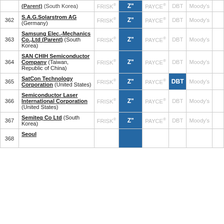| # | Company | FRISK® | Z" | PAYCE® | DBT | Moody's |  |
| --- | --- | --- | --- | --- | --- | --- | --- |
|  | (Parent) (South Korea) | FRISK® | Z" | PAYCE® | DBT | Moody's |  |
| 362 | S.A.G.Solarstrom AG (Germany) | FRISK® | Z" | PAYCE® | DBT | Moody's |  |
| 363 | Samsung Elec.-Mechanics Co.,Ltd (Parent) (South Korea) | FRISK® | Z" | PAYCE® | DBT | Moody's |  |
| 364 | SAN CHIH Semiconductor Company (Taiwan, Republic of China) | FRISK® | Z" | PAYCE® | DBT | Moody's |  |
| 365 | SatCon Technology Corporation (United States) | FRISK® | Z" | PAYCE® | DBT | Moody's |  |
| 366 | Semiconductor Laser International Corporation (United States) | FRISK® | Z" | PAYCE® | DBT | Moody's |  |
| 367 | Semiteq Co Ltd (South Korea) | FRISK® | Z" | PAYCE® | DBT | Moody's |  |
| 368 | Seoul ... |  |  |  |  |  |  |